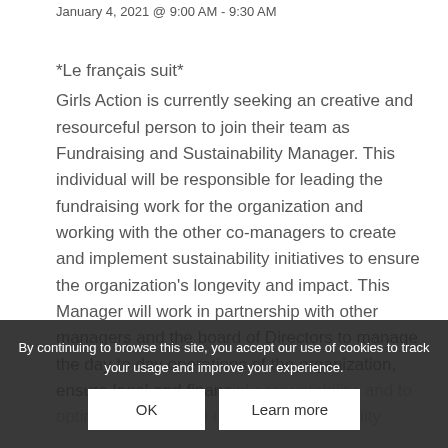January 4, 2021 @ 9:00 AM - 9:30 AM
*Le français suit*
Girls Action is currently seeking an creative and resourceful person to join their team as Fundraising and Sustainability Manager. This individual will be responsible for leading the fundraising work for the organization and working with the other co-managers to create and implement sustainability initiatives to ensure the organization's longevity and impact. This Manager will work in partnership with other managers and the board of Directors to manage the day to day operations of the organization, ensure legal and financial accountability, and to optimize its financial resources and viability
By continuing to browse this site, you accept our use of cookies to track your usage and improve your experience.
OK  Learn more